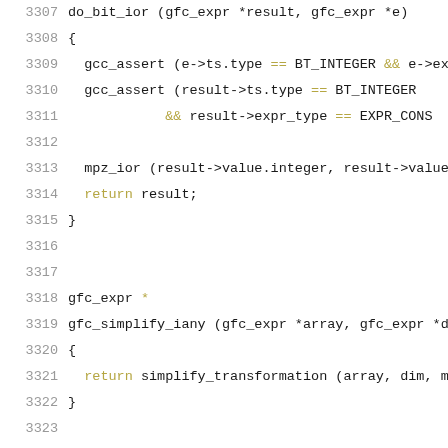Source code listing lines 3307-3328, C language, showing do_bit_ior, gfc_simplify_iany, and gfc_simplify_iand functions